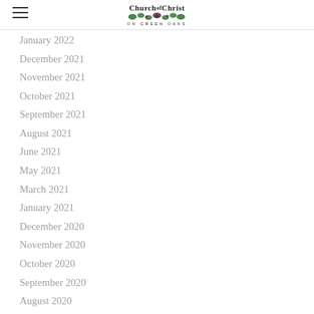Church of Christ on Green Oaks
January 2022
December 2021
November 2021
October 2021
September 2021
August 2021
June 2021
May 2021
March 2021
January 2021
December 2020
November 2020
October 2020
September 2020
August 2020
July 2020
June 2020
May 2020